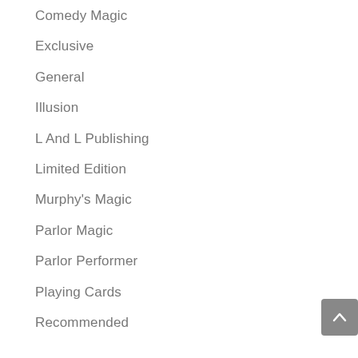Comedy Magic
Exclusive
General
Illusion
L And L Publishing
Limited Edition
Murphy's Magic
Parlor Magic
Parlor Performer
Playing Cards
Recommended